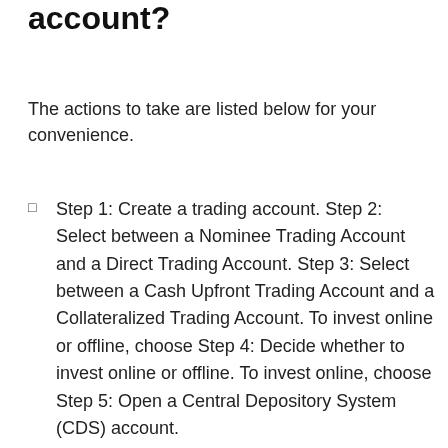account?
The actions to take are listed below for your convenience.
Step 1: Create a trading account. Step 2: Select between a Nominee Trading Account and a Direct Trading Account. Step 3: Select between a Cash Upfront Trading Account and a Collateralized Trading Account. To invest online or offline, choose Step 4: Decide whether to invest online or offline. To invest online, choose Step 5: Open a Central Depository System (CDS) account.